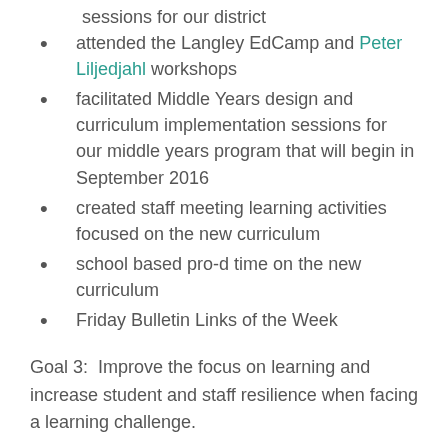sessions for our district
attended the Langley EdCamp and Peter Liljedjahl workshops
facilitated Middle Years design and curriculum implementation sessions for our middle years program that will begin in September 2016
created staff meeting learning activities focused on the new curriculum
school based pro-d time on the new curriculum
Friday Bulletin Links of the Week
Goal 3:  Improve the focus on learning and increase student and staff resilience when facing a learning challenge.